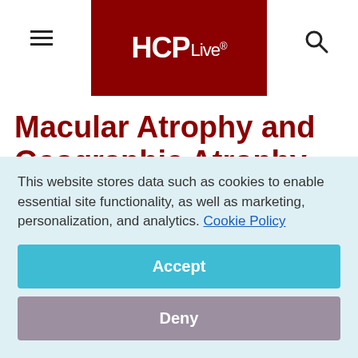HCPLive®
Macular Atrophy and Geographic Atrophy May Be Part of a Continuum in AMD
July 9, 2018
This website stores data such as cookies to enable essential site functionality, as well as marketing, personalization, and analytics. Cookie Policy
Accept
Deny